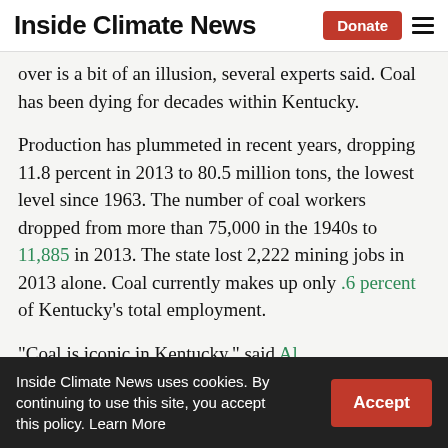Inside Climate News
over is a bit of an illusion, several experts said. Coal has been dying for decades within Kentucky.
Production has plummeted in recent years, dropping 11.8 percent in 2013 to 80.5 million tons, the lowest level since 1963. The number of coal workers dropped from more than 75,000 in the 1940s to 11,885 in 2013. The state lost 2,222 mining jobs in 2013 alone. Coal currently makes up only .6 percent of Kentucky’s total employment.
“Coal is iconic in Kentucky,” said Al…
Inside Climate News uses cookies. By continuing to use this site, you accept this policy. Learn More